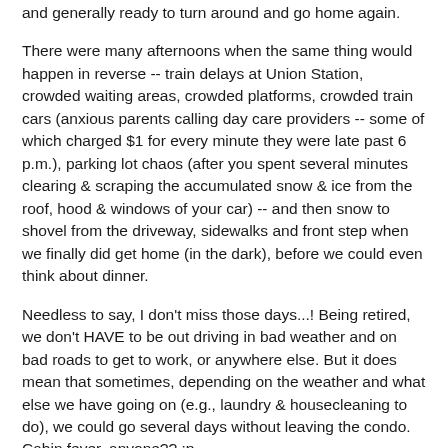and generally ready to turn around and go home again.
There were many afternoons when the same thing would happen in reverse -- train delays at Union Station, crowded waiting areas, crowded platforms, crowded train cars (anxious parents calling day care providers -- some of which charged $1 for every minute they were late past 6 p.m.), parking lot chaos (after you spent several minutes clearing & scraping the accumulated snow & ice from the roof, hood & windows of your car) -- and then snow to shovel from the driveway, sidewalks and front step when we finally did get home (in the dark), before we could even think about dinner.
Needless to say, I don't miss those days...! Being retired, we don't HAVE to be out driving in bad weather and on bad roads to get to work, or anywhere else. But it does mean that sometimes, depending on the weather and what else we have going on (e.g., laundry & housecleaning to do), we could go several days without leaving the condo. Cabin fever, anyone?? :p
I guess I'm in a whiny/ranty mood about the weather in particular right now, because we are expecting a(nother)